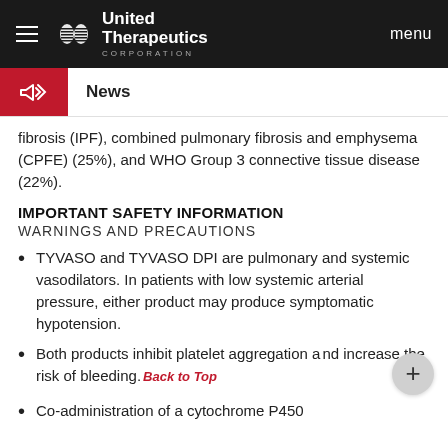United Therapeutics Corporation — menu
News
fibrosis (IPF), combined pulmonary fibrosis and emphysema (CPFE) (25%), and WHO Group 3 connective tissue disease (22%).
IMPORTANT SAFETY INFORMATION
WARNINGS AND PRECAUTIONS
TYVASO and TYVASO DPI are pulmonary and systemic vasodilators. In patients with low systemic arterial pressure, either product may produce symptomatic hypotension.
Both products inhibit platelet aggregation and increase the risk of bleeding.
Co-administration of a cytochrome P450